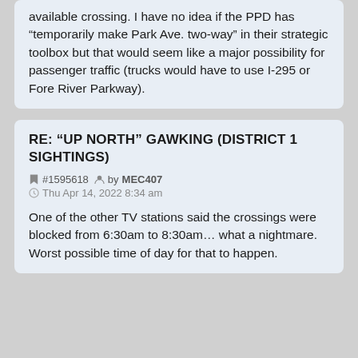available crossing. I have no idea if the PPD has "temporarily make Park Ave. two-way" in their strategic toolbox but that would seem like a major possibility for passenger traffic (trucks would have to use I-295 or Fore River Parkway).
RE: "UP NORTH" GAWKING (DISTRICT 1 SIGHTINGS)
#1595618 by MEC407
Thu Apr 14, 2022 8:34 am
One of the other TV stations said the crossings were blocked from 6:30am to 8:30am... what a nightmare. Worst possible time of day for that to happen.